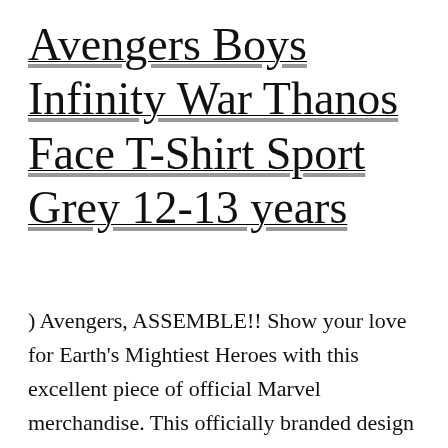Avengers Boys Infinity War Thanos Face T-Shirt Sport Grey 12-13 years
) Avengers, ASSEMBLE!! Show your love for Earth's Mightiest Heroes with this excellent piece of official Marvel merchandise. This officially branded design comes on a youth sized ringspun cotton T-shirt. These garments are mostly 100% ringspun cotton – however please be aware that the colours with a heather finish (Sport Grey, Dark